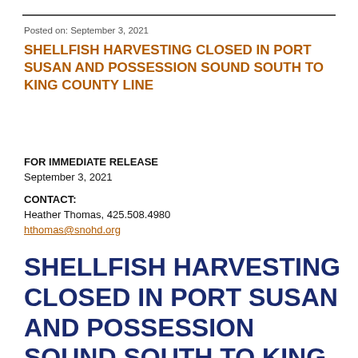Posted on: September 3, 2021
SHELLFISH HARVESTING CLOSED IN PORT SUSAN AND POSSESSION SOUND SOUTH TO KING COUNTY LINE
FOR IMMEDIATE RELEASE
September 3, 2021
CONTACT:
Heather Thomas, 425.508.4980
hthomas@snohd.org
SHELLFISH HARVESTING CLOSED IN PORT SUSAN AND POSSESSION SOUND SOUTH TO KING COUNTY LINE